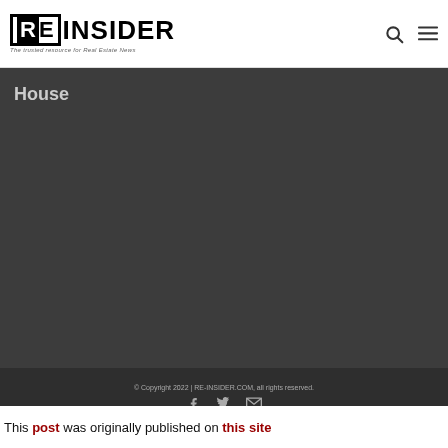RE INSIDER — The trusted resource for Real Estate News
House
© Copyright 2022 | RE-INSIDER.COM, all rights reserved.
This post was originally published on this site